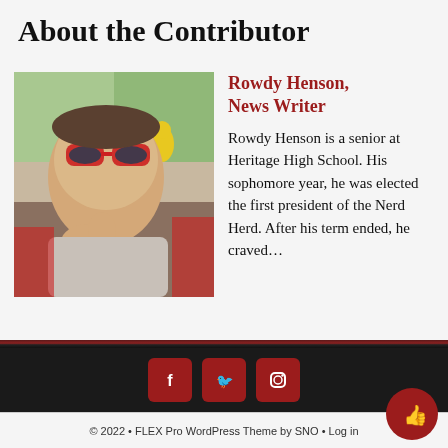About the Contributor
[Figure (photo): Headshot photo of Rowdy Henson wearing red sunglasses inside a car]
Rowdy Henson, News Writer
Rowdy Henson is a senior at Heritage High School. His sophomore year, he was elected the first president of the Nerd Herd. After his term ended, he craved…
© 2022 • FLEX Pro WordPress Theme by SNO • Log in